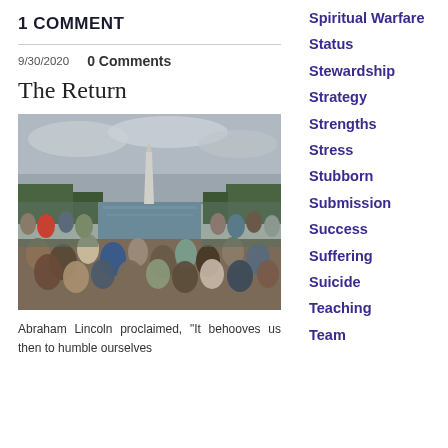1 COMMENT
9/30/2020   0 Comments
The Return
[Figure (photo): Large crowd gathered at the National Mall in Washington D.C., with the Washington Monument reflected in the reflecting pool visible in the background under an overcast sky.]
Abraham Lincoln proclaimed, "It behooves us then to humble ourselves
Spiritual Warfare
Status
Stewardship
Strategy
Strengths
Stress
Stubborn
Submission
Success
Suffering
Suicide
Teaching
Team